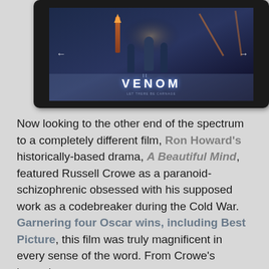[Figure (photo): Movie poster/screenshot showing the Venom II film title card displayed on a dark screen inside a rounded black frame. The image shows figures against a stylized cityscape background with the text 'VENOM' prominently displayed.]
Now looking to the other end of the spectrum to a completely different film, Ron Howard's historically-based drama, A Beautiful Mind, featured Russell Crowe as a paranoid-schizophrenic obsessed with his supposed work as a codebreaker during the Cold War. Garnering four Oscar wins, including Best Picture, this film was truly magnificent in every sense of the word. From Crowe's legendary performance to the award-winning